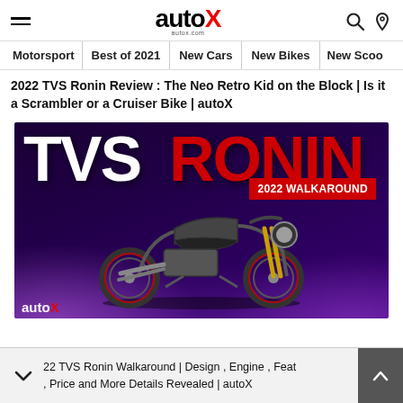autoX — autox.com
Motorsport | Best of 2021 | New Cars | New Bikes | New Scoo
2022 TVS Ronin Review : The Neo Retro Kid on the Block | Is it a Scrambler or a Cruiser Bike | autoX
[Figure (photo): TVS Ronin motorcycle walkaround 2022 — Neo retro motorcycle displayed on stage with purple lighting. Large text reads 'TVS RONIN' (TVS in white, RONIN in red). Badge says '2022 WALKAROUND'. autoX logo watermark at bottom left.]
22 TVS Ronin Walkaround | Design , Engine , Features , Price and More Details Revealed | autoX